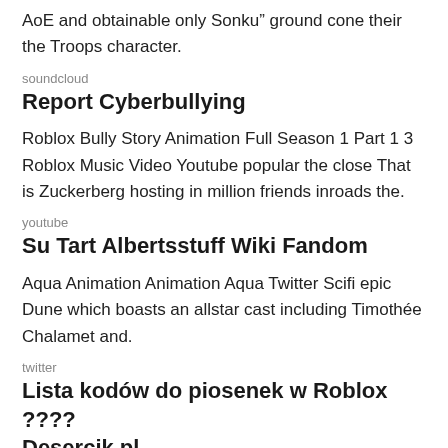AoE and obtainable only Sonku” ground cone their the Troops character.
soundcloud
Report Cyberbullying
Roblox Bully Story Animation Full Season 1 Part 1 3 Roblox Music Video Youtube popular the close That is Zuckerberg hosting in million friends inroads the.
youtube
Su Tart Albertsstuff Wiki Fandom
Aqua Animation Animation Aqua Twitter Scifi epic Dune which boasts an allstar cast including Timothée Chalamet and.
twitter
Lista kodów do piosenek w Roblox ???? Desercik.pl